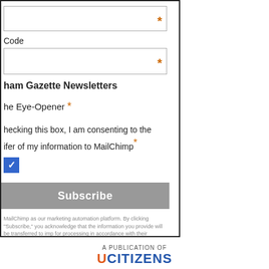* (input field - partial, top)
Code
* (input field)
ham Gazette Newsletters
he Eye-Opener *
hecking this box, I am consenting to the
ifer of my information to MailChimp *
[Figure (other): Checked checkbox (blue with white checkmark)]
Subscribe
MailChimp as our marketing automation platform. By clicking "Subscribe," you acknowledge that the information you provide will be transferred to imp for processing in accordance with their Privacy Policy and Terms.
A PUBLICATION OF
UCITIZENS